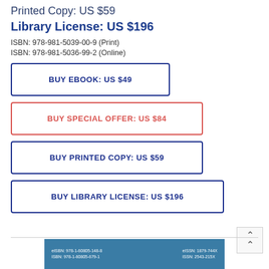Printed Copy: US $59
Library License: US $196
ISBN: 978-981-5039-00-9 (Print)
ISBN: 978-981-5036-99-2 (Online)
BUY EBOOK: US $49
BUY SPECIAL OFFER: US $84
BUY PRINTED COPY: US $59
BUY LIBRARY LICENSE: US $196
[Figure (screenshot): Bottom banner with eISBN, ISBN, eISSN, ISSN information on a blue background]